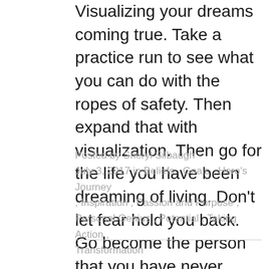Visualizing your dreams coming true.  Take a practice run to see what you can do with the ropes of safety.  Then expand that with visualization.  Then go for the life you have been dreaming of living.  Don't let fear hold you back.  Go become the person that you have never been, but wished you were.
Posted by Sheryl Silbaugh July 3, 2017 in Beliefs , Goals , Hero's Journey , Inspiration , Passion and Purpose , Personal Genius , Potential , Taking Action , Transformation